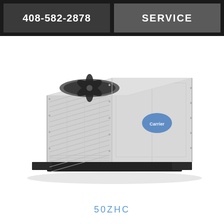408-582-2878  SERVICE
[Figure (photo): Carrier 50ZHC rooftop packaged HVAC unit, light gray metal enclosure with louvered front panel, circular fan on top, and Carrier logo on side panel]
50ZHC